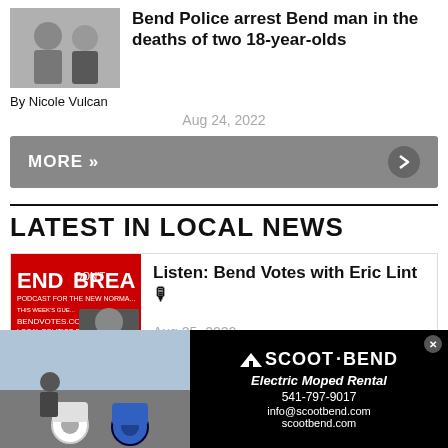[Figure (photo): Two people, a police officer and a woman, photo thumbnail for article]
Bend Police arrest Bend man in the deaths of two 18-year-olds
By Nicole Vulcan
Aug 24, 2022
MORE »
LATEST IN LOCAL NEWS
[Figure (photo): End Don't Break podcast cover with man holding microphone]
Listen: Bend Votes with Eric Lint 🎙
Aug 25, 2022
[Figure (photo): Advertisement: Scoot Bend Electric Moped Rental. Photo of person with two electric scooters. 541-797-9017, info@scootbend.com, scootbend.com]